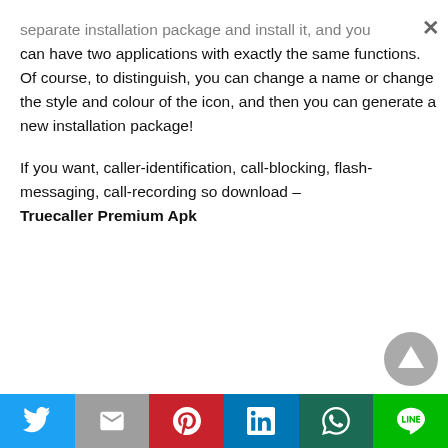separate installation package and install it, and you can have two applications with exactly the same functions. Of course, to distinguish, you can change a name or change the style and colour of the icon, and then you can generate a new installation package!
If you want, caller-identification, call-blocking, flash-messaging, call-recording so download – Truecaller Premium Apk
[Figure (other): Social sharing bar with Twitter, Gmail, Pinterest, LinkedIn, WhatsApp, Line buttons]